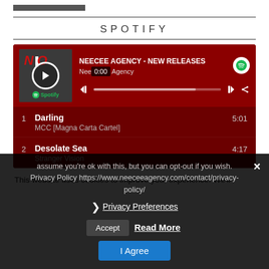[Figure (screenshot): Top bar image/graphic strip]
SPOTIFY
[Figure (screenshot): Spotify embedded player showing NEECEE AGENCY - NEW RELEASES playlist with tracks: 1. Darling by MCC [Magna Carta Cartel] 5:01, 2. Desolate Sea by Stranger Vision 4:17]
This website uses cookies to improve your experience. We'll assume you're ok with this, but you can opt-out if you wish. Privacy Policy https://www.neeceeagency.com/contact/privacy-policy/
Privacy Preferences
Accept   Read More
I Agree